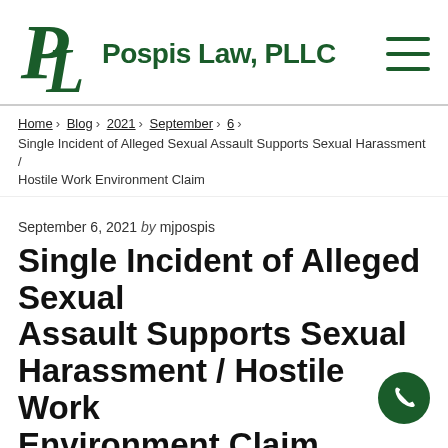Pospis Law, PLLC
Home > Blog > 2021 > September > 6 > Single Incident of Alleged Sexual Assault Supports Sexual Harassment / Hostile Work Environment Claim
September 6, 2021 by mjpospis
Single Incident of Alleged Sexual Assault Supports Sexual Harassment / Hostile Work Environment Claim
In Thompson v. South Amboy Comprehensive Treatment Center, 2021 WL 3828833 (D.N.J. Aug. 27, 2021), the